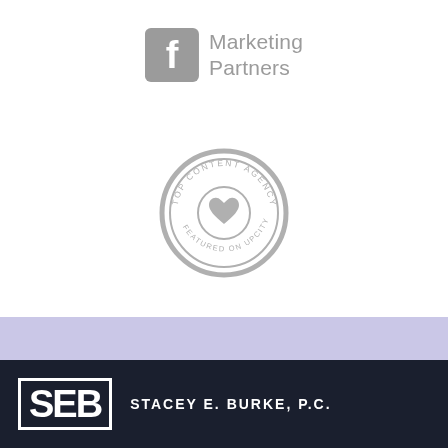[Figure (logo): Facebook Marketing Partners logo — grey square Facebook 'f' icon followed by grey text 'Marketing Partners']
[Figure (logo): Top Content Agency – Featured on Upcity badge: circular grey seal with heart/ribbon icon in center and text around the border]
[Figure (other): Lavender/light purple horizontal banner strip]
[Figure (logo): Stacey E. Burke P.C. logo on dark navy background — large 'SEB' letters in white inside a rectangle outline, with 'STACEY E. BURKE, P.C.' text to the right]